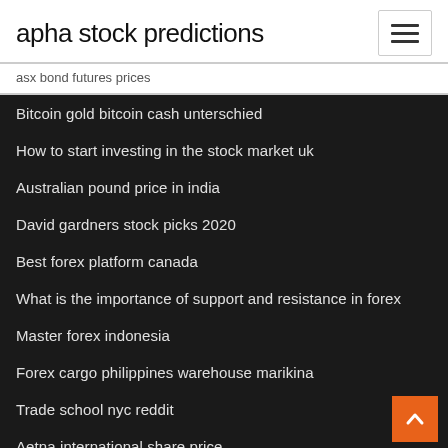apha stock predictions
asx bond futures prices
Bitcoin gold bitcoin cash unterschied
How to start investing in the stock market uk
Australian pound price in india
David gardners stock picks 2020
Best forex platform canada
What is the importance of support and resistance in forex
Master forex indonesia
Forex cargo philippines warehouse marikina
Trade school nyc reddit
Aetna international share price